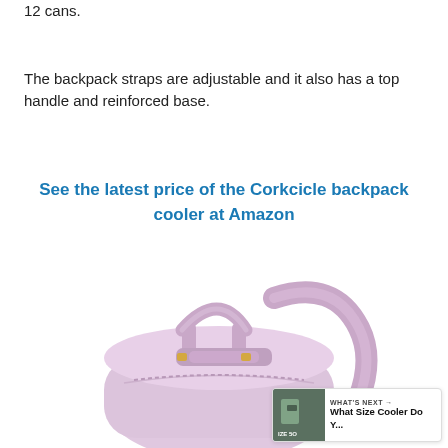12 cans.
The backpack straps are adjustable and it also has a top handle and reinforced base.
See the latest price of the Corkcicle backpack cooler at Amazon
[Figure (photo): Photo of a light purple/lilac Corkcicle backpack cooler with a top handle and shoulder strap, shown from above at an angle. A heart (favorite) button and share button appear on the right side, and a 'What's Next' widget shows in the bottom right corner.]